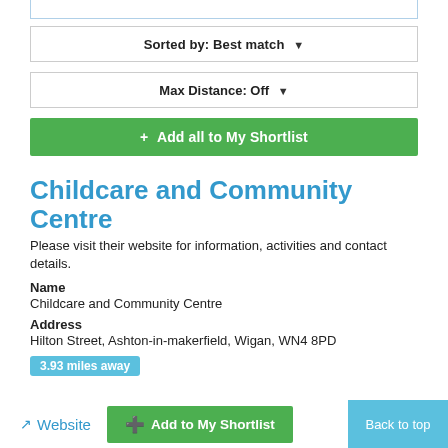Sorted by: Best match ▼
Max Distance: Off ▼
+ Add all to My Shortlist
Childcare and Community Centre
Please visit their website for information, activities and contact details.
Name
Childcare and Community Centre
Address
Hilton Street, Ashton-in-makerfield, Wigan, WN4 8PD
3.93 miles away
Website
+ Add to My Shortlist
Back to top